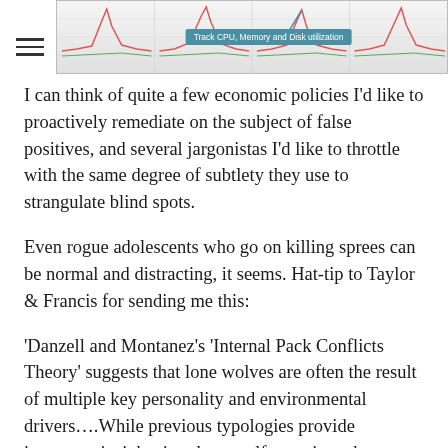[Figure (screenshot): Screenshot of a system monitoring dashboard showing CPU, Memory and Disk utilization charts with a tooltip reading 'Track CPU, Memory and Disk utilization']
I can think of quite a few economic policies I’d like to proactively remediate on the subject of false positives, and several jargonistas I’d like to throttle with the same degree of subtlety they use to strangulate blind spots.
Even rogue adolescents who go on killing sprees can be normal and distracting, it seems. Hat-tip to Taylor & Francis for sending me this:
‘Danzell and Montanez’s ‘Internal Pack Conflicts Theory’ suggests that lone wolves are often the result of multiple key personality and environmental drivers….While previous typologies provide important insights into lone wolf terrorism, the current literature often overlooks an important intervening variable…They fail to sufficiently enlighten the intelligence community and law enforcement officials on the process that explains the ‘turning point’ in the lives of lone wolves…. Even though lone wolves thrive in